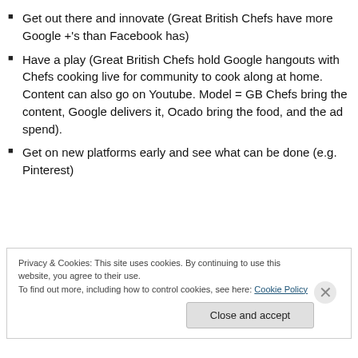Get out there and innovate (Great British Chefs have more Google +'s than Facebook has)
Have a play (Great British Chefs hold Google hangouts with Chefs cooking live for community to cook along at home. Content can also go on Youtube. Model = GB Chefs bring the content, Google delivers it, Ocado bring the food, and the ad spend).
Get on new platforms early and see what can be done (e.g. Pinterest)
Privacy & Cookies: This site uses cookies. By continuing to use this website, you agree to their use. To find out more, including how to control cookies, see here: Cookie Policy
Close and accept